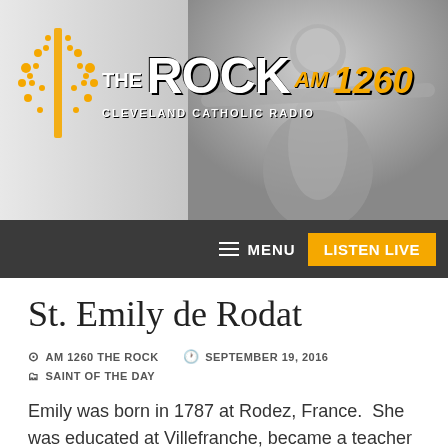[Figure (screenshot): AM 1260 The Rock Cleveland Catholic Radio website header banner with logo (sunburst, 'the ROCK AM 1260 Cleveland Catholic Radio') and a grayscale figure of Christ with outstretched arms in the background.]
MENU  LISTEN LIVE
St. Emily de Rodat
AM 1260 THE ROCK   SEPTEMBER 19, 2016
SAINT OF THE DAY
Emily was born in 1787 at Rodez, France.  She was educated at Villefranche, became a teacher at the age of 18 and, realizing that many of the children of the poor were not going to school because they could not afford to, she opened a school for them and taught without charge.